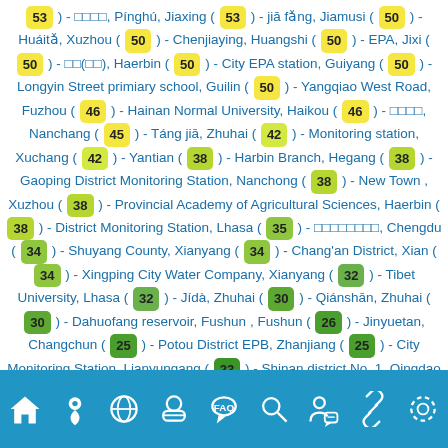53 - 拼虎, Pínghú, Jiaxing ( 53 ) - jiā fǎng, Jiamusi ( 50 ) - Huáitǎ, Xuzhou ( 50 ) - Chenjiaying, Huangshi ( 50 ) - EPA, Jixi ( 50 ) - 环保(环保), Haerbin ( 50 ) - City EPA station, Guiyang ( 50 ) - Longyin Street primiary school, Guilin ( 50 ) - Yangqiao West Road, Fuzhou ( 46 ) - Hainan Normal University, Haikou ( 46 ) - 抚顺站, Nanchang ( 45 ) - Táng jiā, Zhuhai ( 42 ) - Monitoring station, Xuchang ( 42 ) - Yantian ( 38 ) - Harbin Branch, Hegang ( 38 ) - Gaoping District Monitoring Station, Nanchong ( 38 ) - New Town , Xuzhou ( 38 ) - Provincial Academy of Agricultural Sciences, Haerbin ( 38 ) - District Monitoring Station, Lhasa ( 35 ) - 成都环境监测站, Chengdu ( 34 ) - Shuyang County, Xianyang ( 34 ) - Chang'an District, Xian ( 34 ) - Xingping City Water Company, Xianyang ( 32 ) - Tibet University, Lhasa ( 32 ) - Jídà, Zhuhai ( 30 ) - Qiánshān, Zhuhai ( 30 ) - Dahuofang reservoir, Fushun , Fushun ( 26 ) - Jinyuetan, Changchun ( 25 ) - Potou District EPB, Zhanjiang ( 25 ) - City Monitoring Station, Lianyungang ( 23 ) - Shinan district No. 1, Qingdao ( 21 ) - City Environmental Building Station , Qionghai ( 21 ) - guāngmíng, Tonghua ( 18 )
Navigation bar with home, location, globe, face mask, FAQ, search, person, link, settings icons